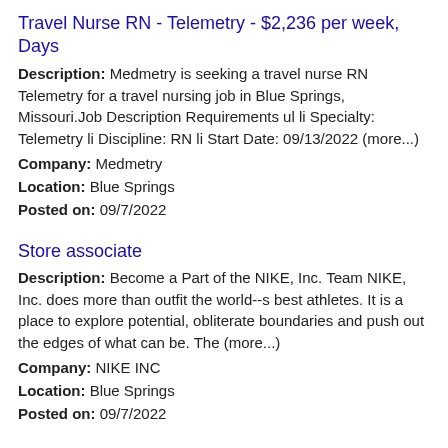Travel Nurse RN - Telemetry - $2,236 per week, Days
Description: Medmetry is seeking a travel nurse RN Telemetry for a travel nursing job in Blue Springs, Missouri.Job Description Requirements ul li Specialty: Telemetry li Discipline: RN li Start Date: 09/13/2022 (more...)
Company: Medmetry
Location: Blue Springs
Posted on: 09/7/2022
Store associate
Description: Become a Part of the NIKE, Inc. Team NIKE, Inc. does more than outfit the world--s best athletes. It is a place to explore potential, obliterate boundaries and push out the edges of what can be. The (more...)
Company: NIKE INC
Location: Blue Springs
Posted on: 09/7/2022
Independent Insurance Claims Adjuster in Blue Springs, Missouri
Description: ADJUSTERS NEEDED NOW FOR ALL STORM RELATED SEASONS Independent Insurance Claims Adjusters Needed Now Each year NOCA makes predictions about how the weather will be for the